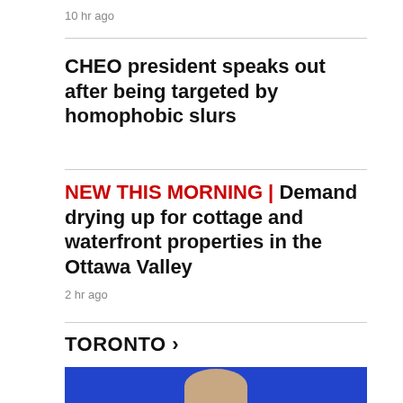10 hr ago
CHEO president speaks out after being targeted by homophobic slurs
NEW THIS MORNING | Demand drying up for cottage and waterfront properties in the Ottawa Valley
2 hr ago
TORONTO >
[Figure (photo): Photo of a bald man against a blue background]